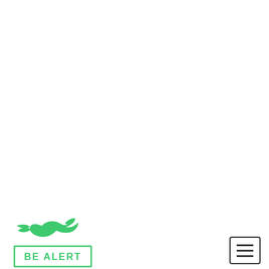[Figure (logo): Be Alert logo: green bird/eagle silhouette above a rectangular box with text 'BE ALERT' in green outlined letters]
[Figure (other): Hamburger menu button: three horizontal lines inside a rounded rectangle border]